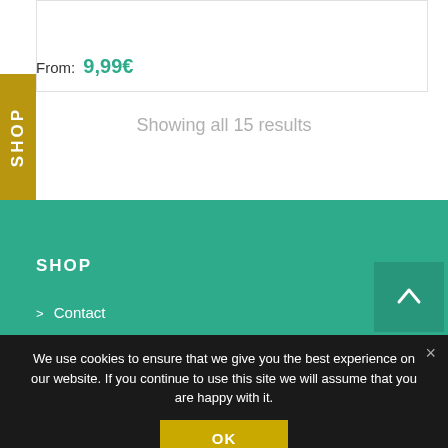From: 9,99€
Showing all 15 results
SHOP
> Contact
We use cookies to ensure that we give you the best experience on our website. If you continue to use this site we will assume that you are happy with it.
OK